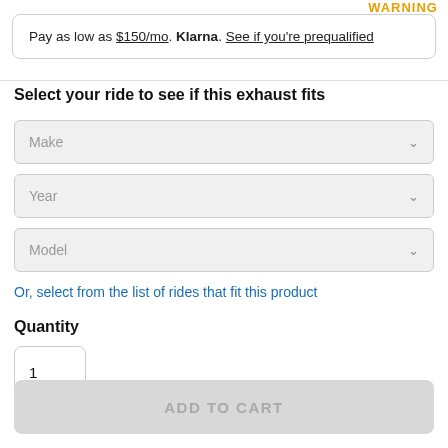WARNING
Pay as low as $150/mo. Klarna. See if you're prequalified
Select your ride to see if this exhaust fits
Make
Year
Model
Or, select from the list of rides that fit this product
Quantity
1
ADD TO CART